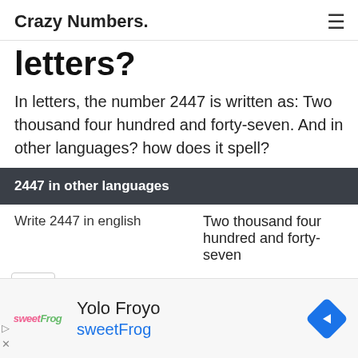Crazy Numbers.
letters?
In letters, the number 2447 is written as: Two thousand four hundred and forty-seven. And in other languages? how does it spell?
2447 in other languages
| Write 2447 in english | Two thousand four hundred and forty-seven |
[Figure (screenshot): Advertisement banner for sweetFrog frozen yogurt featuring 'Yolo Froyo' text, sweetFrog logo, and a blue diamond navigation arrow icon]